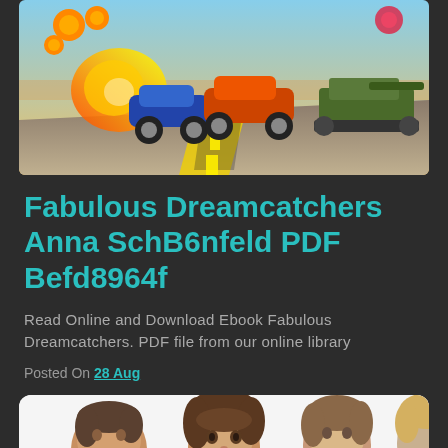[Figure (photo): A colorful racing game scene with cars and a military tank driving on a road with explosions and action in the background.]
Fabulous Dreamcatchers Anna SchB6nfeld PDF Befd8964f
Read Online and Download Ebook Fabulous Dreamcatchers. PDF file from our online library
Posted On 28 Aug
[Figure (photo): A family photo showing a man, a young child with brown hair, a woman, and another person, all visible from the shoulders up against a white background.]